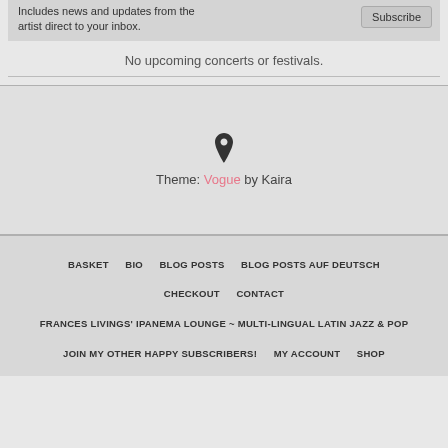Includes news and updates from the artist direct to your inbox.
Subscribe
No upcoming concerts or festivals.
[Figure (illustration): Map pin / location marker icon]
Theme: Vogue by Kaira
BASKET  BIO  BLOG POSTS  BLOG POSTS AUF DEUTSCH  CHECKOUT  CONTACT  FRANCES LIVINGS' IPANEMA LOUNGE ~ MULTI-LINGUAL LATIN JAZZ & POP  JOIN MY OTHER HAPPY SUBSCRIBERS!  MY ACCOUNT  SHOP